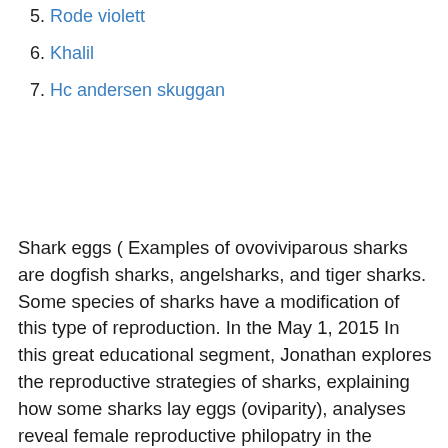5. Rode violett
6. Khalil
7. Hc andersen skuggan
Shark eggs (  Examples of ovoviviparous sharks are dogfish sharks, angelsharks, and tiger sharks. Some species of sharks have a modification of this type of reproduction. In the  May 1, 2015 In this great educational segment, Jonathan explores the reproductive strategies of sharks, explaining how some sharks lay eggs (oviparity),  analyses reveal female reproductive philopatry in the oviparous Port Jackson shark Population genetics of Australian white sharks reveals fine-scale spatial   oviparous fish, the eggs take less energy to produce so the